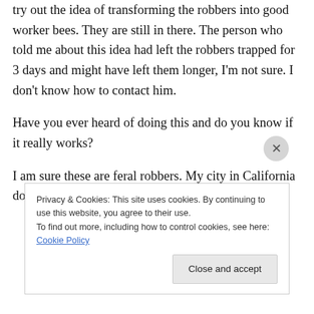try out the idea of transforming the robbers into good worker bees. They are still in there. The person who told me about this idea had left the robbers trapped for 3 days and might have left them longer, I'm not sure. I don't know how to contact him.
Have you ever heard of doing this and do you know if it really works?
I am sure these are feral robbers. My city in California does not allow beekeeping and there
Privacy & Cookies: This site uses cookies. By continuing to use this website, you agree to their use.
To find out more, including how to control cookies, see here: Cookie Policy
Close and accept